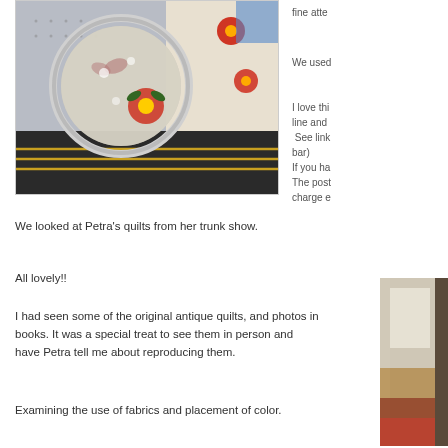[Figure (photo): Close-up photograph of a quilt with floral fabric pattern and a magnifying glass or round metallic object resting on it, showing detailed stitching]
fine atte
We used
I love thi line and  See link bar) If you ha The post charge e
We looked at Petra's quilts from her trunk show.
All lovely!!
I had seen some of the original antique quilts, and photos in books. It was a special treat to see them in person and have Petra tell me about reproducing them.
Examining the use of fabrics and placement of color.
[Figure (photo): Partial view of quilts on display, showing fabric patterns and colors on the right edge of the page]